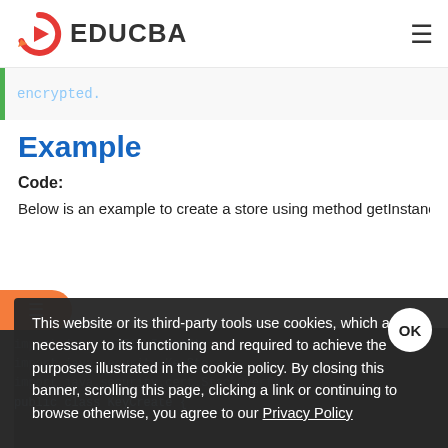EDUCBA
encrypted.
Example
Code:
Below is an example to create a store using method getInstance
This website or its third-party tools use cookies, which are necessary to its functioning and required to achieve the purposes illustrated in the cookie policy. By closing this banner, scrolling this page, clicking a link or continuing to browse otherwise, you agree to our Privacy Policy